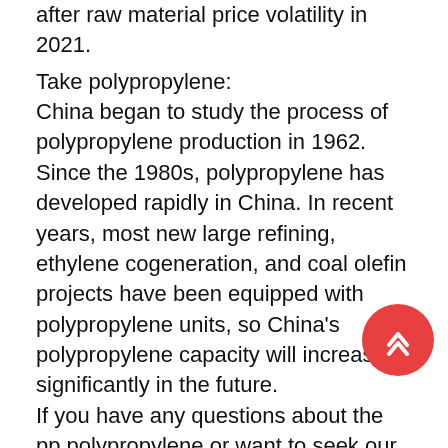after raw material price volatility in 2021.
Take polypropylene:
China began to study the process of polypropylene production in 1962. Since the 1980s, polypropylene has developed rapidly in China. In recent years, most new large refining, ethylene cogeneration, and coal olefin projects have been equipped with polypropylene units, so China's polypropylene capacity will increase significantly in the future.
If you have any questions about the pp polypropylene or want to seek our help.Send an email to sales@polypvc.com ,please feel free to contact us.
Or go to the company website: www.polypvc.com
Market and application of "three high" the pp polypropylene
At present, the demand for HCPP in China is 250,000-300,000 tons per year, and the growth rate is 10-15% per year, indicating a broad market prospect.